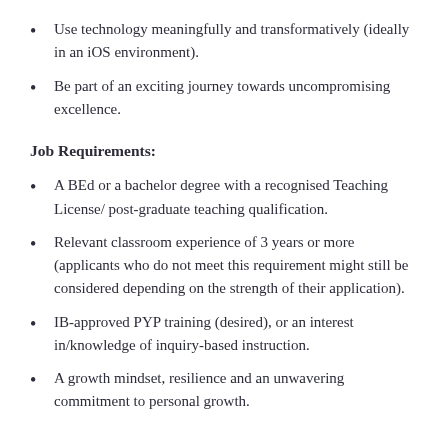Use technology meaningfully and transformatively (ideally in an iOS environment).
Be part of an exciting journey towards uncompromising excellence.
Job Requirements:
A BEd or a bachelor degree with a recognised Teaching License/ post-graduate teaching qualification.
Relevant classroom experience of 3 years or more (applicants who do not meet this requirement might still be considered depending on the strength of their application).
IB-approved PYP training (desired), or an interest in/knowledge of inquiry-based instruction.
A growth mindset, resilience and an unwavering commitment to personal growth.